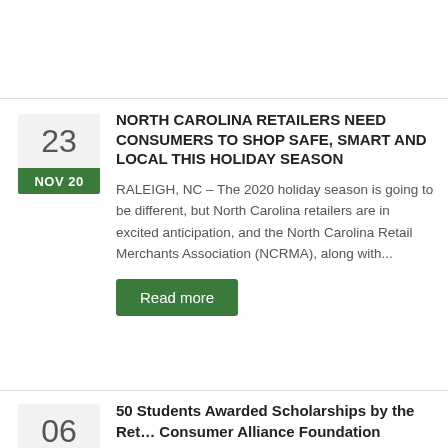Read more
NORTH CAROLINA RETAILERS NEED CONSUMERS TO SHOP SAFE, SMART AND LOCAL THIS HOLIDAY SEASON
RALEIGH, NC – The 2020 holiday season is going to be different, but North Carolina retailers are in excited anticipation, and the North Carolina Retail Merchants Association (NCRMA), along with...
Read more
50 Students Awarded Scholarships by the Ret… Consumer Alliance Foundation